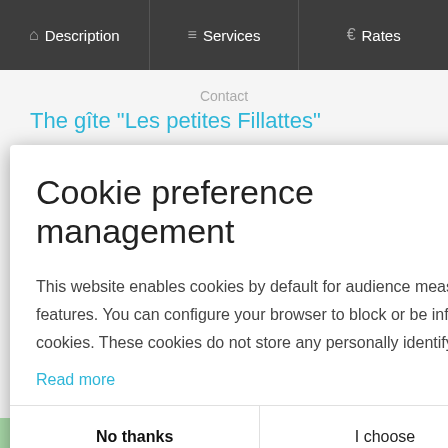Description | Services | Rates
Contact
The gîte "Les petites Fillattes"
Cookie preference management
This website enables cookies by default for audience measurement tools and anonymous features. You can configure your browser to block or be informed of the existence of these cookies. These cookies do not store any personally identifying information.
Read more
Invalid website
No thanks
I choose
Ok for me